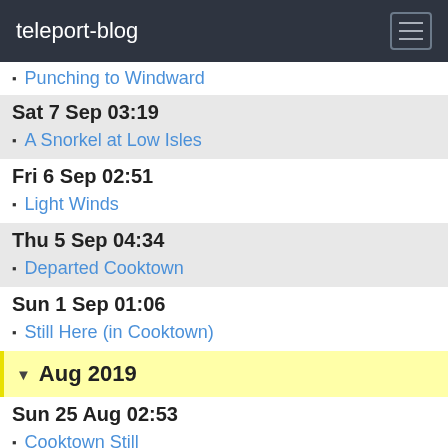teleport-blog
Punching to Windward
Sat 7 Sep 03:19
A Snorkel at Low Isles
Fri 6 Sep 02:51
Light Winds
Thu 5 Sep 04:34
Departed Cooktown
Sun 1 Sep 01:06
Still Here (in Cooktown)
Aug 2019
Sun 25 Aug 02:53
Cooktown Still
Sat 17 Aug 09:04
Cooktown
Fri 16 Aug 07:14